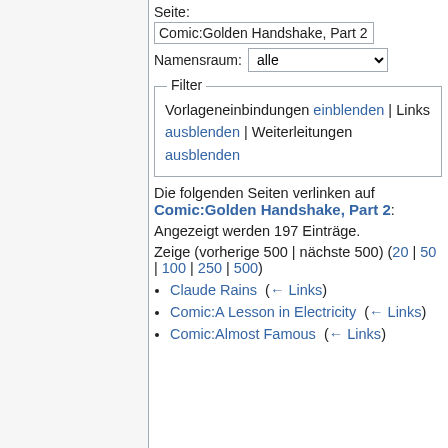Seite: Comic:Golden Handshake, Part 2
Namensraum: alle
Filter
Vorlageneinbindungen einblenden | Links ausblenden | Weiterleitungen ausblenden
Die folgenden Seiten verlinken auf Comic:Golden Handshake, Part 2:
Angezeigt werden 197 Einträge.
Zeige (vorherige 500 | nächste 500) (20 | 50 | 100 | 250 | 500)
Claude Rains  (← Links)
Comic:A Lesson in Electricity  (← Links)
Comic:Almost Famous  (← Links)